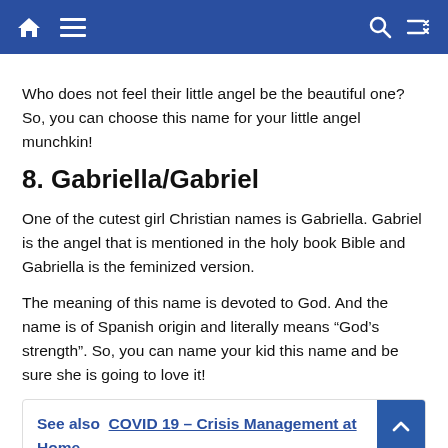Navigation bar with home, menu, search, and shuffle icons
Who does not feel their little angel be the beautiful one? So, you can choose this name for your little angel munchkin!
8.  Gabriella/Gabriel
One of the cutest girl Christian names is Gabriella. Gabriel is the angel that is mentioned in the holy book Bible and Gabriella is the feminized version.
The meaning of this name is devoted to God. And the name is of Spanish origin and literally means “God’s strength”. So, you can name your kid this name and be sure she is going to love it!
See also  COVID 19 – Crisis Management at Home During Lockdown